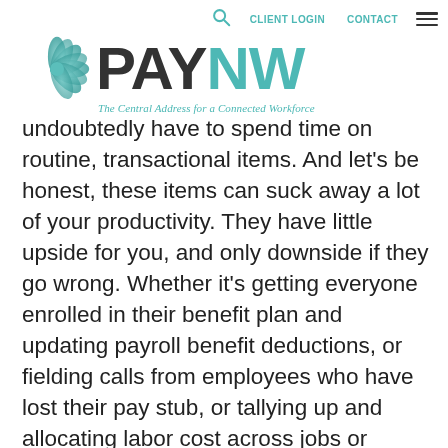PAYNW – The Central Address for a Connected Workforce | CLIENT LOGIN | CONTACT
undoubtedly have to spend time on routine, transactional items. And let's be honest, these items can suck away a lot of your productivity. They have little upside for you, and only downside if they go wrong. Whether it's getting everyone enrolled in their benefit plan and updating payroll benefit deductions, or fielding calls from employees who have lost their pay stub, or tallying up and allocating labor cost across jobs or